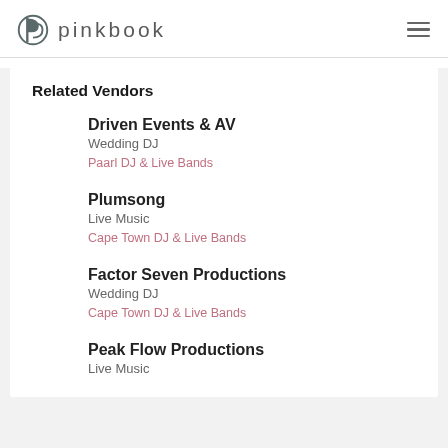pinkbook
Related Vendors
Driven Events & AV
Wedding DJ
Paarl DJ & Live Bands
Plumsong
Live Music
Cape Town DJ & Live Bands
Factor Seven Productions
Wedding DJ
Cape Town DJ & Live Bands
Peak Flow Productions
Live Music